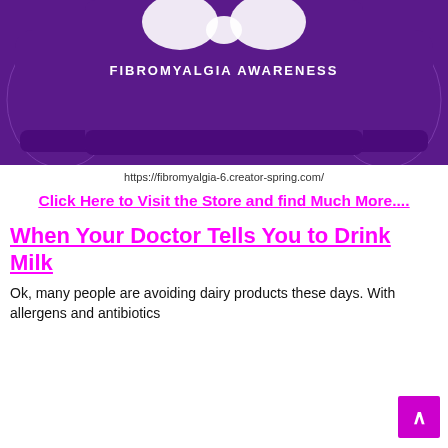[Figure (photo): Purple fibromyalgia awareness sweatshirt shown from front and sides, with white text 'FIBROMYALGIA AWARENESS' on the chest]
https://fibromyalgia-6.creator-spring.com/
Click Here to Visit the Store and find Much More....
When Your Doctor Tells You to Drink Milk
Ok, many people are avoiding dairy products these days. With allergens and antibiotics